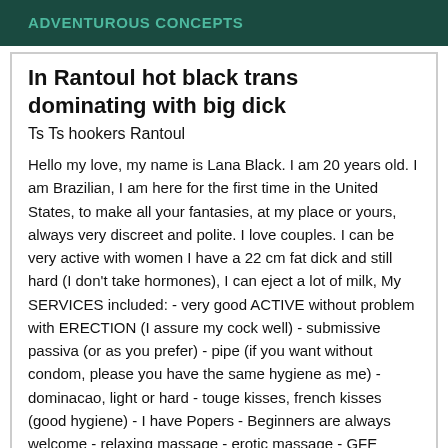ADVENTUROUS CONCEPTS
In Rantoul hot black trans dominating with big dick
Ts Ts hookers Rantoul
Hello my love, my name is Lana Black. I am 20 years old. I am Brazilian, I am here for the first time in the United States, to make all your fantasies, at my place or yours, always very discreet and polite. I love couples. I can be very active with women I have a 22 cm fat dick and still hard (I don't take hormones), I can eject a lot of milk, My SERVICES included: - very good ACTIVE without problem with ERECTION (I assure my cock well) - submissive passiva (or as you prefer) - pipe (if you want without condom, please you have the same hygiene as me) - dominacao, light or hard - touge kisses, french kisses (good hygiene) - I have Popers - Beginners are always welcome - relaxing massage - erotic massage - GFE girlfriend experience (or romantic